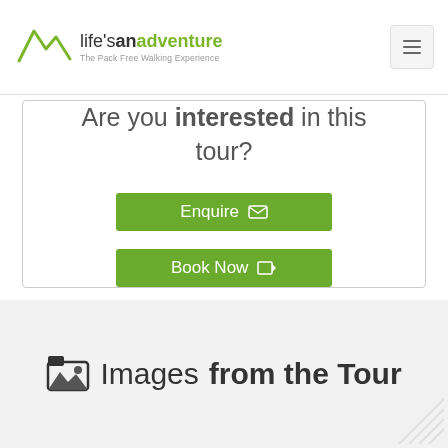life'sanadventure — The Pack Free Walking Experience
Are you interested in this tour?
Enquire
Book Now
Images from the Tour